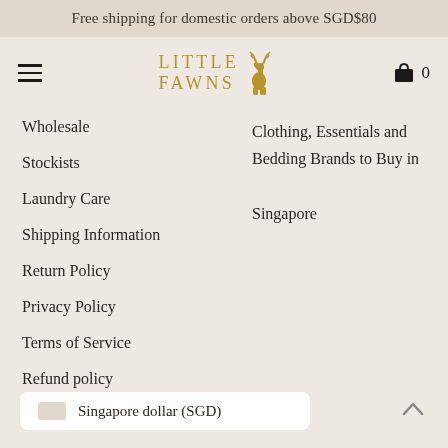Free shipping for domestic orders above SGD$80
[Figure (logo): Little Fawns logo with deer silhouette in gold/tan color]
Wholesale
Stockists
Laundry Care
Shipping Information
Return Policy
Privacy Policy
Terms of Service
Refund policy
Clothing, Essentials and Bedding Brands to Buy in Singapore
Singapore dollar (SGD)